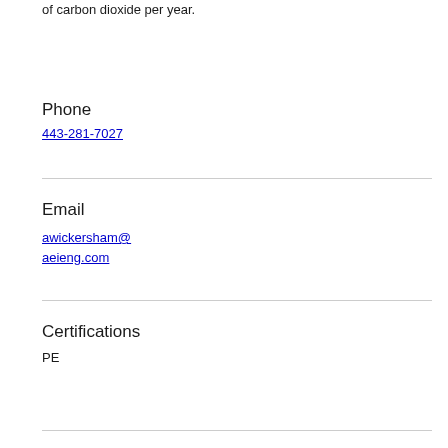of carbon dioxide per year.
Phone
443-281-7027
Email
awickersham@aeieng.com
Certifications
PE